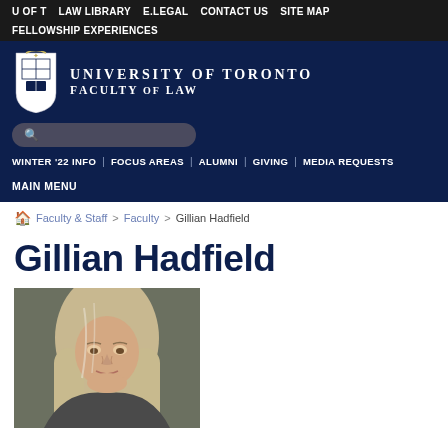U OF T  LAW LIBRARY  E.LEGAL  CONTACT US  SITE MAP
FELLOWSHIP EXPERIENCES
[Figure (logo): University of Toronto Faculty of Law logo with crest and text]
WINTER '22 INFO  |  FOCUS AREAS  |  ALUMNI  |  GIVING  |  MEDIA REQUESTS
MAIN MENU
Faculty & Staff > Faculty > Gillian Hadfield
Gillian Hadfield
[Figure (photo): Portrait photo of Gillian Hadfield, a woman with long blonde-gray hair, smiling slightly]